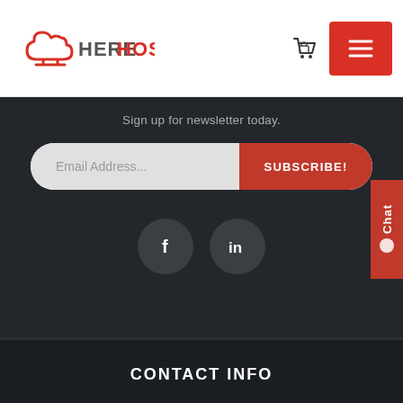[Figure (logo): HereHost logo with cloud icon in red and text 'HEREHOST' where HERE is gray and HOST is red]
Sign up for newsletter today.
Email Address...
SUBSCRIBE!
[Figure (illustration): Facebook icon circle button]
[Figure (illustration): LinkedIn icon circle button]
Chat
CONTACT INFO
ADDRESS
Bulgaria, Plovdiv, Sopot
Ivan Vazov 35 str., 4330